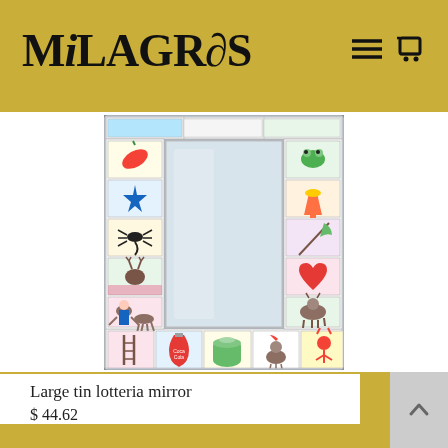MiLAGRoS
[Figure (photo): A rectangular tin loteria mirror with colorful Mexican loteria cards decorating the border on all four sides and a reflective mirror in the center. The frame features illustrated cards with various Mexican loteria images including animals, objects, and figures. The bottom row shows cards including a ladder, Coca-Cola bottle, jar, rooster/horse, and figures.]
Large tin lotteria mirror
$ 44.62